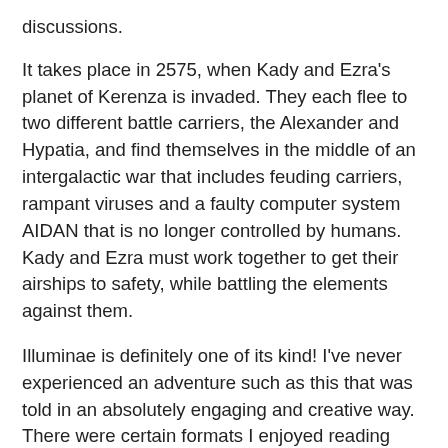discussions.
It takes place in 2575, when Kady and Ezra's planet of Kerenza is invaded. They each flee to two different battle carriers, the Alexander and Hypatia, and find themselves in the middle of an intergalactic war that includes feuding carriers, rampant viruses and a faulty computer system AIDAN that is no longer controlled by humans. Kady and Ezra must work together to get their airships to safety, while battling the elements against them.
Illuminae is definitely one of its kind! I've never experienced an adventure such as this that was told in an absolutely engaging and creative way. There were certain formats I enjoyed reading more than others. I was absolutely drawn by the inter-ship messages between Kady and Ezra. Having witnessed their shaky start at the beginning of the novel, where is wasn't quite clear why Kady broke-up with her boyfriend, I was curious how these two would ultimately come together at the end. The inter-messages between these two, were both heartfelt, funny and sarcastic adding a bit of levity to their situation.